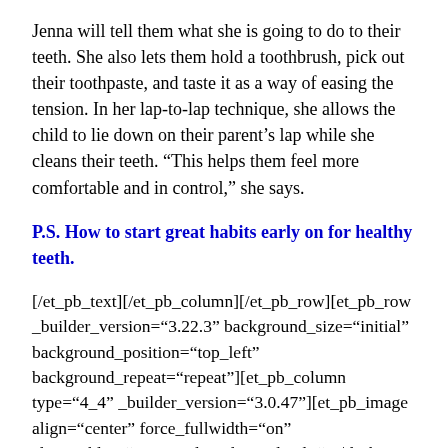Jenna will tell them what she is going to do to their teeth. She also lets them hold a toothbrush, pick out their toothpaste, and taste it as a way of easing the tension. In her lap-to-lap technique, she allows the child to lie down on their parent’s lap while she cleans their teeth. “This helps them feel more comfortable and in control,” she says.
P.S. How to start great habits early on for healthy teeth.
[/et_pb_text][/et_pb_column][/et_pb_row][et_pb_row _builder_version="3.22.3" background_size="initial" background_position="top_left" background_repeat="repeat"][et_pb_column type="4_4" _builder_version="3.0.47"][et_pb_image align="center" force_fullwidth="on" align_tablet="center" align_last_edited="on|desktop" _builder_version="3.23"] [/et_pb_image][et_pb_text admin_label="Image Caption"